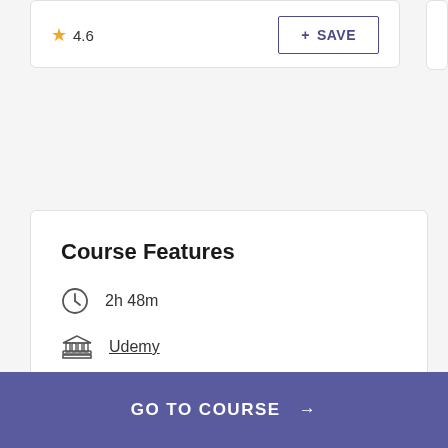★ 4.6
+ SAVE
Course Features
2h 48m
Udemy
English
GO TO COURSE →